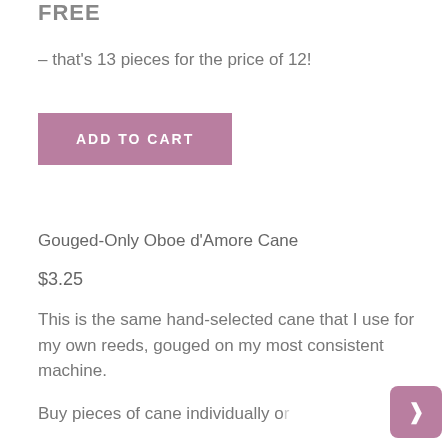FREE
– that's 13 pieces for the price of 12!
[Figure (other): Pink 'ADD TO CART' button]
Gouged-Only Oboe d'Amore Cane
$3.25
This is the same hand-selected cane that I use for my own reeds, gouged on my most consistent machine.
Buy pieces of cane individually or buy 12 and get one piece...